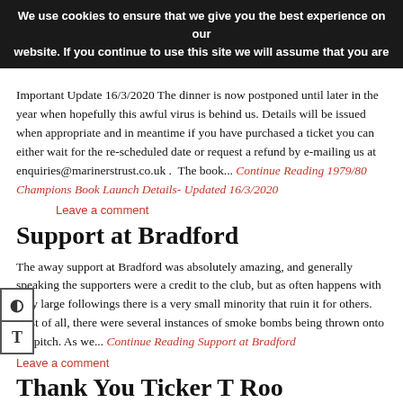We use cookies to ensure that we give you the best experience on our website. If you continue to use this site we will assume that you are
Important Update 16/3/2020 The dinner is now postponed until later in the year when hopefully this awful virus is behind us. Details will be issued when appropriate and in meantime if you have purchased a ticket you can either wait for the re-scheduled date or request a refund by e-mailing us at enquiries@marinerstrust.co.uk .  The book... Continue Reading 1979/80 Champions Book Launch Details- Updated 16/3/2020
Leave a comment
Support at Bradford
The away support at Bradford was absolutely amazing, and generally speaking the supporters were a credit to the club, but as often happens with very large followings there is a very small minority that ruin it for others. First of all, there were several instances of smoke bombs being thrown onto the pitch. As we... Continue Reading Support at Bradford
Leave a comment
Thank You Ticker T Roo